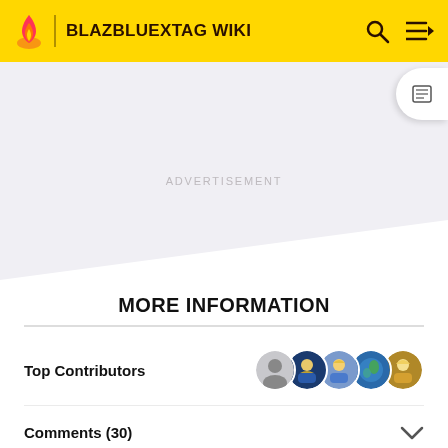BLAZBLUEXTAG WIKI
[Figure (other): Advertisement placeholder area with diagonal white cutoff at bottom]
MORE INFORMATION
Top Contributors
Comments (30)
Categories